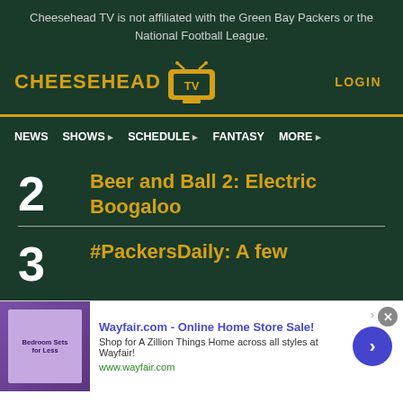Cheesehead TV is not affiliated with the Green Bay Packers or the National Football League.
[Figure (logo): Cheesehead TV logo with yellow text and TV icon, LOGIN link on right]
NEWS  SHOWS  SCHEDULE  FANTASY  MORE
2  Beer and Ball 2: Electric Boogaloo
3  #PackersDaily: A few
[Figure (infographic): Wayfair.com advertisement banner - Online Home Store Sale! Shop for A Zillion Things Home across all styles at Wayfair! www.wayfair.com]